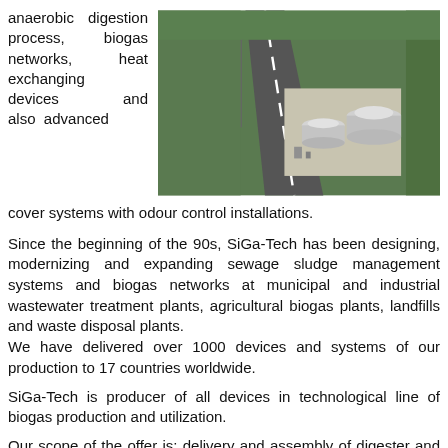anaerobic digestion process, biogas networks, heat exchanging devices and also advanced cover systems with odour control installations.
[Figure (photo): Aerial view of biogas or wastewater treatment facility showing storage tanks on a concrete pad next to a road, surrounded by green grass]
Since the beginning of the 90s, SiGa-Tech has been designing, modernizing and expanding sewage sludge management systems and biogas networks at municipal and industrial wastewater treatment plants, agricultural biogas plants, landfills and waste disposal plants.
We have delivered over 1000 devices and systems of our production to 17 countries worldwide.
SiGa-Tech is producer of all devices in technological line of biogas production and utilization.
Our scope of the offer is: delivery and assembly of digester and storage tanks, delivery and assembly of aluminium, membrane or floating covers, production of sludge heat exchangers and